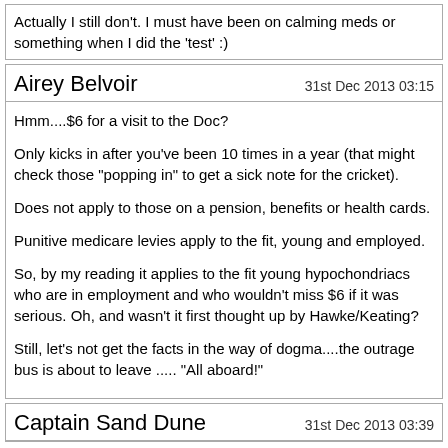Actually I still don't. I must have been on calming meds or something when I did the 'test' :)
Airey Belvoir
31st Dec 2013 03:15
Hmm....$6 for a visit to the Doc?

Only kicks in after you've been 10 times in a year (that might check those "popping in" to get a sick note for the cricket).

Does not apply to those on a pension, benefits or health cards.

Punitive medicare levies apply to the fit, young and employed.

So, by my reading it applies to the fit young hypochondriacs who are in employment and who wouldn't miss $6 if it was serious. Oh, and wasn't it first thought up by Hawke/Keating?

Still, let's not get the facts in the way of dogma....the outrage bus is about to leave ..... "All aboard!"
Captain Sand Dune
31st Dec 2013 03:39